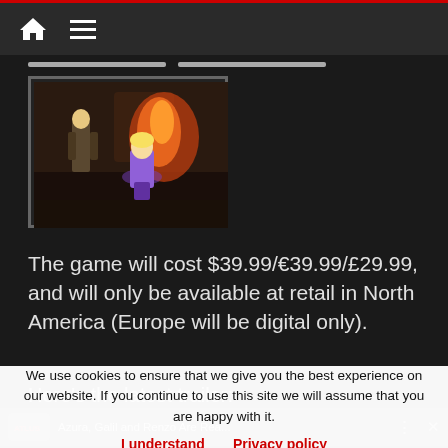Navigation bar with home icon and menu icon
[Figure (screenshot): Game screenshot showing anime-style characters with fire effects in a dark environment]
The game will cost $39.99/€39.99/£29.99, and will only be available at retail in North America (Europe will be digital only).
Here's the latest trailer:
We use cookies to ensure that we give you the best experience on our website. If you continue to use this site we will assume that you are happy with it.
I understand   Privacy policy